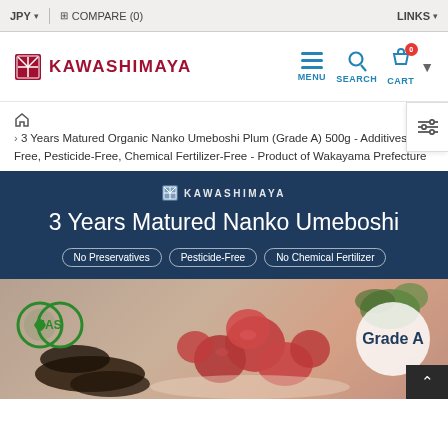JPY ▾  COMPARE (0)  LINKS ▾
[Figure (logo): Kawashimaya logo with red K icon and brand name in dark red]
3 Years Matured Organic Nanko Umeboshi Plum (Grade A) 500g - Additives-Free, Pesticide-Free, Chemical Fertilizer-Free - Product of Wakayama Prefecture
[Figure (infographic): Dark navy product banner reading '3 Years Matured Nanko Umeboshi' with Kawashimaya logo and three tags: No Preservatives, Pesticide-Free, No Chemical Fertilizer]
[Figure (photo): Product photo showing umeboshi plums on a plate with JAS organic certification badge and Grade A badge overlay]